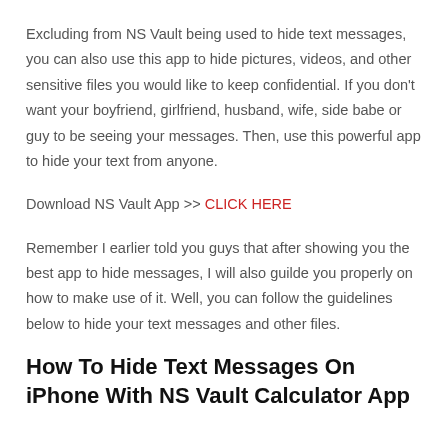Excluding from NS Vault being used to hide text messages, you can also use this app to hide pictures, videos, and other sensitive files you would like to keep confidential. If you don't want your boyfriend, girlfriend, husband, wife, side babe or guy to be seeing your messages. Then, use this powerful app to hide your text from anyone.
Download NS Vault App >> CLICK HERE
Remember I earlier told you guys that after showing you the best app to hide messages, I will also guilde you properly on how to make use of it. Well, you can follow the guidelines below to hide your text messages and other files.
How To Hide Text Messages On iPhone With NS Vault Calculator App